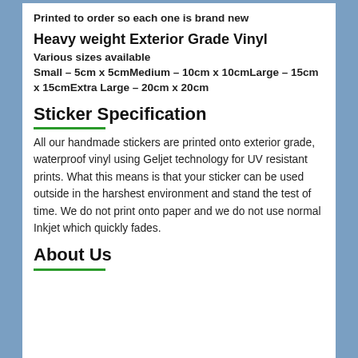Printed to order so each one is brand new
Heavy weight Exterior Grade Vinyl
Various sizes available
Small – 5cm x 5cmMedium – 10cm x 10cmLarge – 15cm x 15cmExtra Large – 20cm x 20cm
Sticker Specification
All our handmade stickers are printed onto exterior grade, waterproof vinyl using Geljet technology for UV resistant prints. What this means is that your sticker can be used outside in the harshest environment and stand the test of time. We do not print onto paper and we do not use normal Inkjet which quickly fades.
About Us